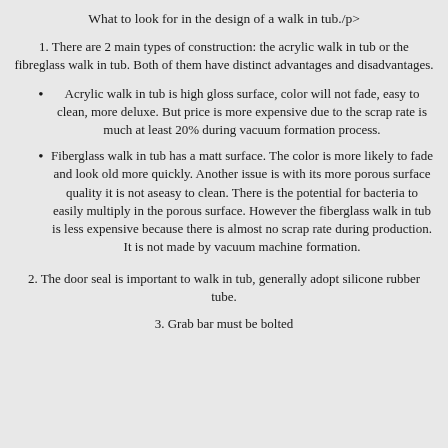What to look for in the design of a walk in tub./p>
1. There are 2 main types of construction: the acrylic walk in tub or the fibreglass walk in tub. Both of them have distinct advantages and disadvantages.
Acrylic walk in tub is high gloss surface, color will not fade, easy to clean, more deluxe. But price is more expensive due to the scrap rate is much at least 20% during vacuum formation process.
Fiberglass walk in tub has a matt surface. The color is more likely to fade and look old more quickly. Another issue is with its more porous surface quality it is not aseasy to clean. There is the potential for bacteria to easily multiply in the porous surface. However the fiberglass walk in tub is less expensive because there is almost no scrap rate during production. It is not made by vacuum machine formation.
2. The door seal is important to walk in tub, generally adopt silicone rubber tube.
3. Grab bar must be bolted